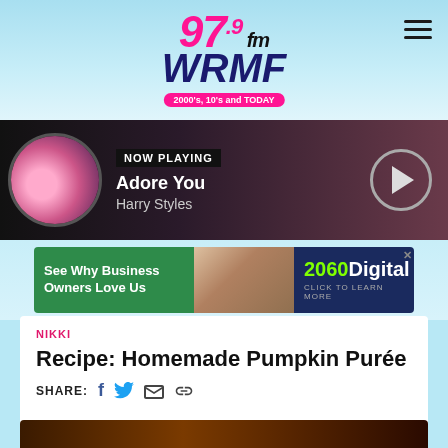97.9 fm WRMF — 2000's, 10's and TODAY
[Figure (screenshot): Now Playing bar showing album art for Adore You by Harry Styles with play button]
NOW PLAYING
Adore You
Harry Styles
[Figure (screenshot): 2060 Digital advertisement banner: See Why Business Owners Love Us — CLICK TO LEARN MORE]
NIKKI
Recipe: Homemade Pumpkin Purée
SHARE:
[Figure (photo): Bottom of page partial photo, dark orange tones]